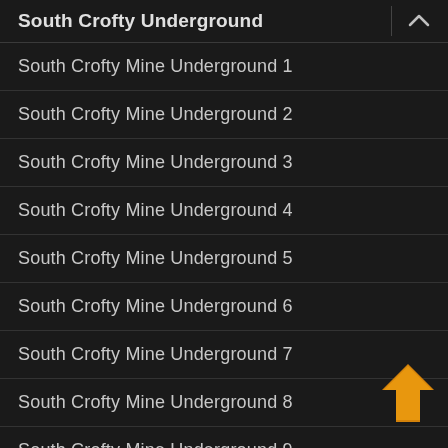South Crofty Underground
South Crofty Mine Underground 1
South Crofty Mine Underground 2
South Crofty Mine Underground 3
South Crofty Mine Underground 4
South Crofty Mine Underground 5
South Crofty Mine Underground 6
South Crofty Mine Underground 7
South Crofty Mine Underground 8
South Crofty Mine Underground 9